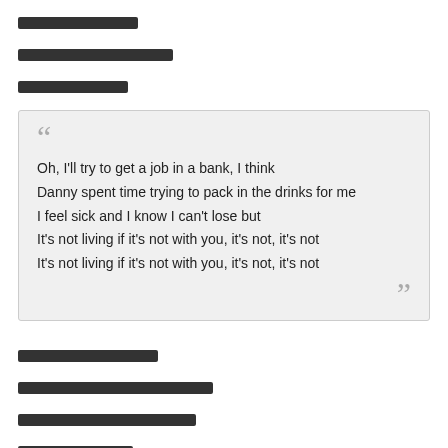[redacted]
[redacted]
[redacted]
Oh, I'll try to get a job in a bank, I think
Danny spent time trying to pack in the drinks for me
I feel sick and I know I can't lose but
It's not living if it's not with you, it's not, it's not
It's not living if it's not with you, it's not, it's not
[redacted]
[redacted]
[redacted]
[redacted]